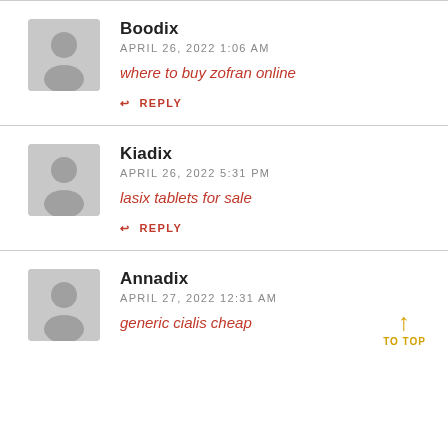[Figure (illustration): Gray avatar placeholder icon for user Boodix]
Boodix
APRIL 26, 2022 1:06 AM
where to buy zofran online
↩ REPLY
[Figure (illustration): Gray avatar placeholder icon for user Kiadix]
Kiadix
APRIL 26, 2022 5:31 PM
lasix tablets for sale
↩ REPLY
[Figure (illustration): Gray avatar placeholder icon for user Annadix]
Annadix
APRIL 27, 2022 12:31 AM
generic cialis cheap
↑ TO TOP